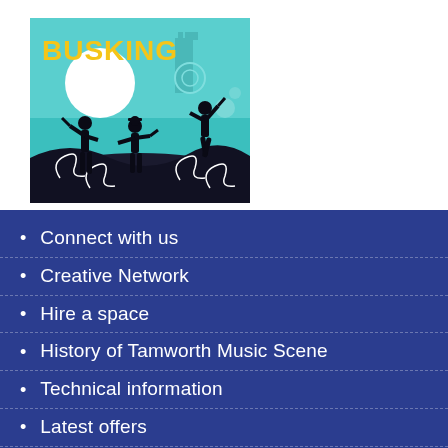[Figure (illustration): Busking promotional image with teal/turquoise background showing silhouettes of three street performers/musicians with the word BUSKING in bold yellow letters, decorative swirl patterns and a castle in the background]
Connect with us
Creative Network
Hire a space
History of Tamworth Music Scene
Technical information
Latest offers
Latest news
Terms and conditions